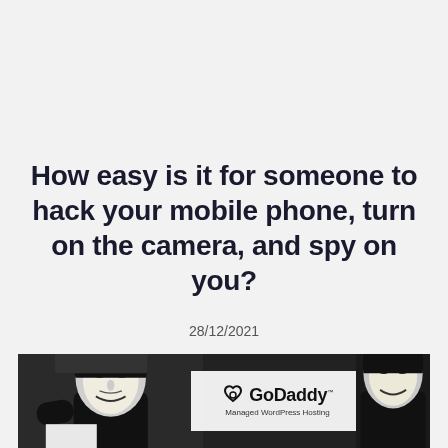How easy is it for someone to hack your mobile phone, turn on the camera, and spy on you?
28/12/2021
[Figure (photo): Black and white photo showing a person in an Anonymous (Guy Fawkes) mask wearing a black hoodie on the left, a GoDaddy Managed WordPress Hosting sign in the center, and another masked figure on the right. The image has a dark, ominous tone.]